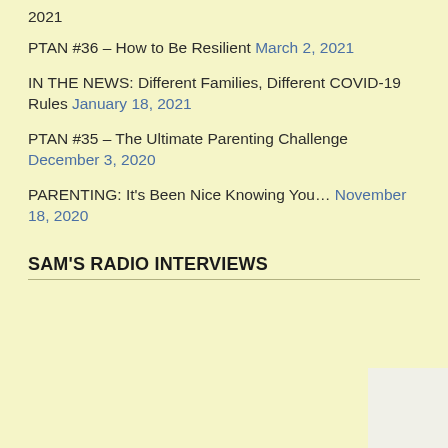2021
PTAN #36 – How to Be Resilient March 2, 2021
IN THE NEWS: Different Families, Different COVID-19 Rules January 18, 2021
PTAN #35 – The Ultimate Parenting Challenge December 3, 2020
PARENTING: It's Been Nice Knowing You… November 18, 2020
SAM'S RADIO INTERVIEWS